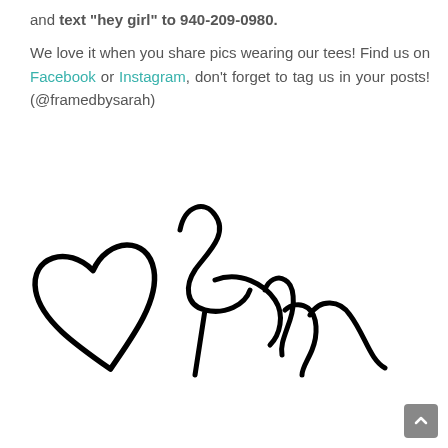and text "hey girl" to 940-209-0980. We love it when you share pics wearing our tees! Find us on Facebook or Instagram, don't forget to tag us in your posts! (@framedbysarah)
[Figure (illustration): Handwritten signature of Sarah with a heart shape drawn to the left of the name.]